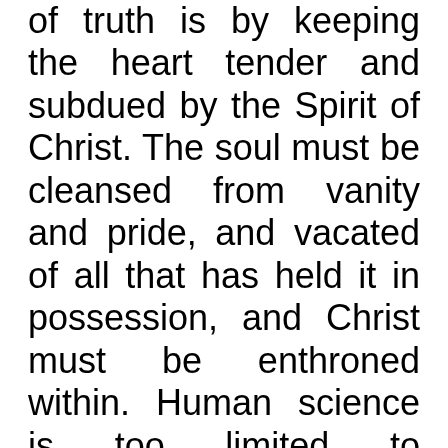of truth is by keeping the heart tender and subdued by the Spirit of Christ. The soul must be cleansed from vanity and pride, and vacated of all that has held it in possession, and Christ must be enthroned within. Human science is too limited to comprehend the atonement. The plan of redemption is so far-reaching that philosophy cannot explain it. It will ever remain a mystery that the